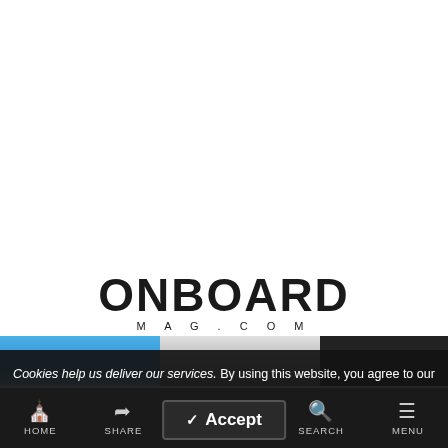[Figure (logo): ONBOARD MAG.COM logo in bold black text on white background]
[Figure (photo): Horizontal image strip showing three photos: blue sky scene on left, grey/white construction or crane scene in center, dark scene with red and blue tones on right]
Cookies help us deliver our services. By using this website, you agree to our use of cookies. Learn More
HOME   SHARE   Accept   SEARCH   MENU